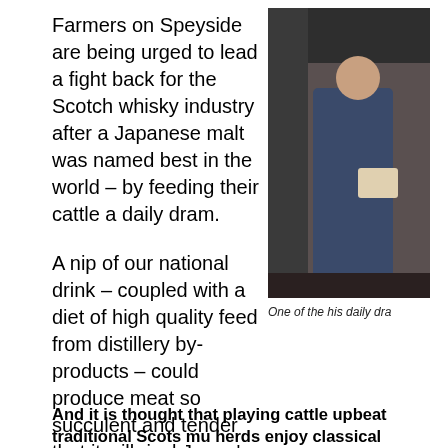Farmers on Speyside are being urged to lead a fight back for the Scotch whisky industry after a Japanese malt was named best in the world – by feeding their cattle a daily dram.
[Figure (photo): A person in a blue outfit sitting in what appears to be a barn or farm setting, partially visible on the right side of the page.]
One of the his daily dra
A nip of our national drink – coupled with a diet of high quality feed from distillery by-products – could produce meat so succulent and tender that it will rival Japan's famous Kobe beef.
And it is thought that playing cattle upbeat traditional Scots mu... herds enjoy classical sounds, will further enhance the quality of...
Now there are calls from organisers of the world renowned Spirit of S... to help further trial the theory.